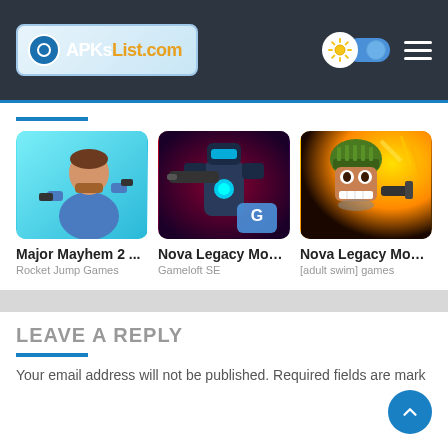APKsList.com
[Figure (screenshot): Major Mayhem 2 game icon - cartoon soldier with guns on blue background]
[Figure (screenshot): Nova Legacy Mod game icon - armored robot/mech on dark red background with Gameloft logo]
[Figure (screenshot): Nova Legacy Mod game icon - cartoon soldier with gun on explosion yellow background]
Major Mayhem 2 ...
Rocket Jump Games
Nova Legacy Mod ...
Gameloft SE
Nova Legacy Mod ...
[adult swim] games
LEAVE A REPLY
Your email address will not be published. Required fields are mark